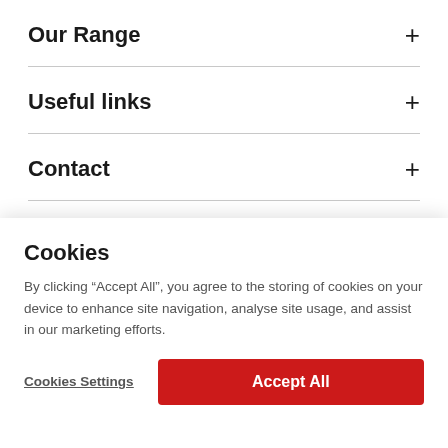Our Range
Useful links
Contact
[Figure (logo): Philip Dennis logo with glasses icon and red bold text PHILIP DENNIS]
Cookies
By clicking “Accept All”, you agree to the storing of cookies on your device to enhance site navigation, analyse site usage, and assist in our marketing efforts.
Cookies Settings
Accept All